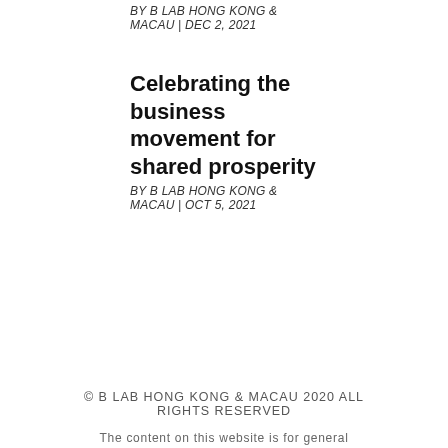BY B LAB HONG KONG & MACAU | DEC 2, 2021
Celebrating the business movement for shared prosperity
BY B LAB HONG KONG & MACAU | OCT 5, 2021
© B LAB HONG KONG & MACAU 2020 ALL RIGHTS RESERVED
The content on this website is for general information purposes only. B Lab (Hong Kong & Macau) makes no representations or warranties of any kind, express or
© B LAB HONG KONG & MACAU 2020 ALL RIGHTS RESERVED